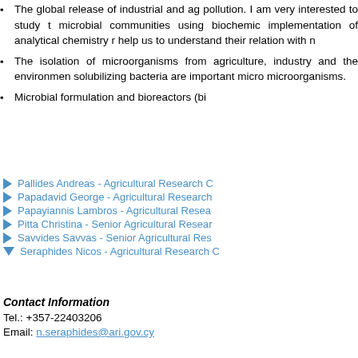The global release of industrial and ag pollution. I am very interested to study t microbial communities using biochemic implementation of analytical chemistry r help us to understand their relation with
The isolation of microorganisms from agriculture, industry and the environmen solubilizing bacteria are important micro microorganisms.
Microbial formulation and bioreactors (bi
Pallides Andreas - Agricultural Research C
Papadavid George - Agricultural Research
Papayiannis Lambros - Agricultural Resea
Pitta Christina - Senior Agricultural Resear
Savvides Savvas - Senior Agricultural Res
Seraphides Nicos - Agricultural Research C
Contact Information
Tel.: +357-22403206
Email: n.seraphides@ari.gov.cy